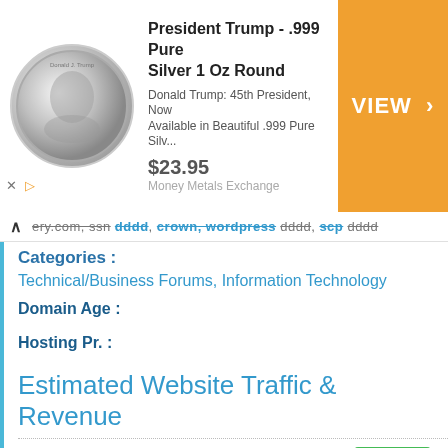[Figure (other): Advertisement banner for President Trump .999 Pure Silver 1 Oz Round coin, showing coin image, product title, description, price $23.95, and orange VIEW button. Advertiser: Money Metals Exchange.]
ery.com, ssn dddd, crown, wordpress dddd, scp dddd
Categories :
Technical/Business Forums, Information Technology
Domain Age :
Hosting Pr. :
Estimated Website Traffic & Revenue
Daily Unique Visitors:  10,500
Daily Pageviews:  14,700